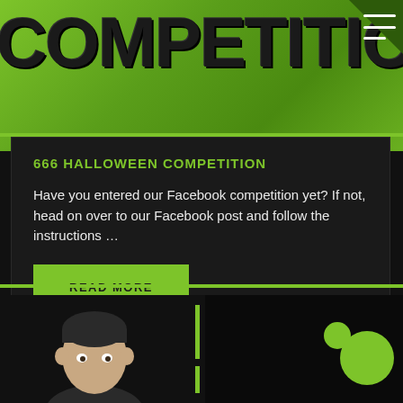[Figure (illustration): Halloween competition banner with large spooky text 'COMPETITION' on green gradient background with hamburger menu icon in top right corner]
666 HALLOWEEN COMPETITION
Have you entered our Facebook competition yet? If not, head on over to our Facebook post and follow the instructions …
READ MORE
[Figure (photo): Bottom strip showing a person's head/face on the left side with green vertical divider bars in the middle and dark background with green circles on the right]